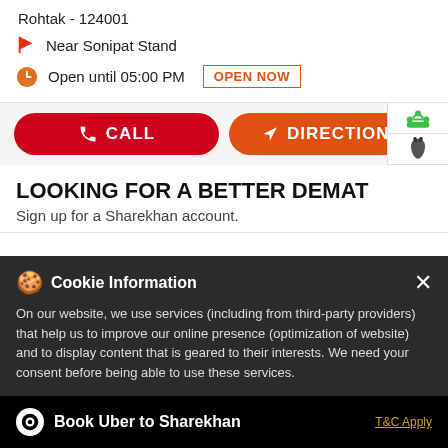Rohtak - 124001
Near Sonipat Stand
Open until 05:00 PM  OPEN NOW
CALL  DIRECTIONS
LOOKING FOR A BETTER DEMAT
Sign up for a Sharekhan account.
Cookie Information
On our website, we use services (including from third-party providers) that help us to improve our online presence (optimization of website) and to display content that is geared to their interests. We need your consent before being able to use these services.
Name*   Your Name
Email ID*
Book Uber to Sharekhan   T&C Apply